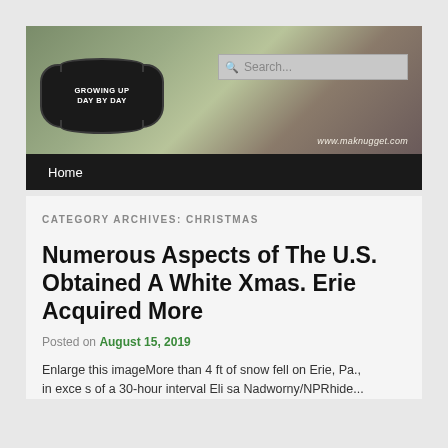[Figure (photo): Blog header banner with children playing outdoors in background. Logo badge reads 'Growing Up Day By Day' with search box on right. URL www.maknugget.com shown in bottom right.]
Home
CATEGORY ARCHIVES: CHRISTMAS
Numerous Aspects of The U.S. Obtained A White Xmas. Erie Acquired More
Posted on August 15, 2019
Enlarge this imageMore than 4 ft of snow fell on Erie, Pa., in exce s of a 30-hour interval Eli sa Nadworny/NPRhide...